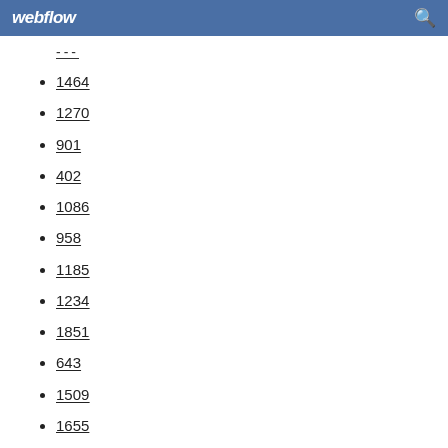webflow
---
1464
1270
901
402
1086
958
1185
1234
1851
643
1509
1655